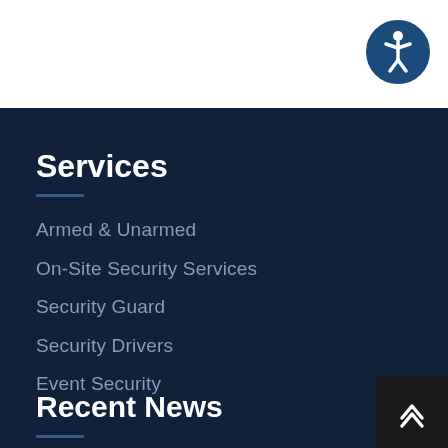[Figure (logo): Accessibility icon button — circle with person/wheelchair symbol in dark blue]
Services
Armed & Unarmed
On-Site Security Services
Security Guard
Security Drivers
Event Security
Recent News
[Figure (other): Scroll-to-top button with double chevron up arrow on dark background]